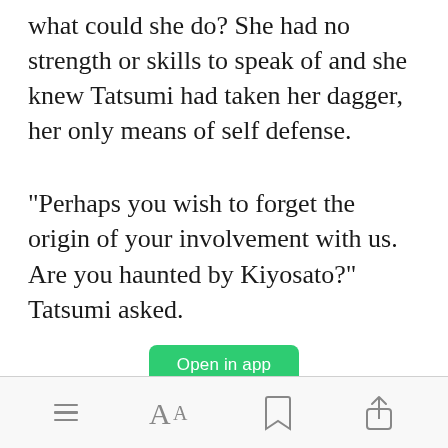what could she do? She had no strength or skills to speak of and she knew Tatsumi had taken her dagger, her only means of self defense.
"Perhaps you wish to forget the origin of your involvement with us. Are you haunted by Kiyosato?" Tatsumi asked.
[Figure (other): Green 'Open in app' button]
Toolbar with menu, font size, bookmark, and share icons